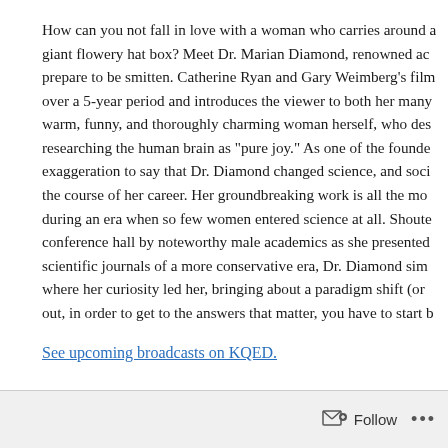How can you not fall in love with a woman who carries around a giant flowery hat box? Meet Dr. Marian Diamond, renowned ac… prepare to be smitten. Catherine Ryan and Gary Weimberg's film… over a 5-year period and introduces the viewer to both her many… warm, funny, and thoroughly charming woman herself, who des… researching the human brain as "pure joy." As one of the founde… exaggeration to say that Dr. Diamond changed science, and soci… the course of her career. Her groundbreaking work is all the mo… during an era when so few women entered science at all. Shoute… conference hall by noteworthy male academics as she presented… scientific journals of a more conservative era, Dr. Diamond sim… where her curiosity led her, bringing about a paradigm shift (or … out, in order to get to the answers that matter, you have to start b…
See upcoming broadcasts on KQED.
Follow ···